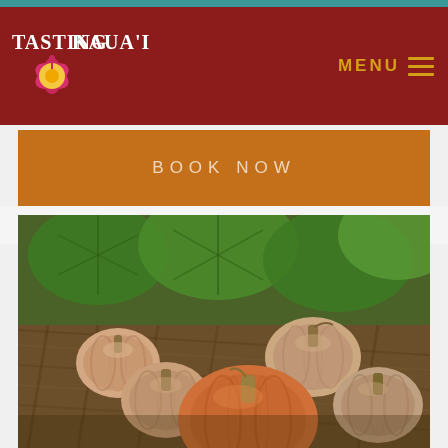Tasting Kaua'i — MENU navigation header
BOOK NOW
[Figure (photo): Four pale pink/peach pumpkins of varying sizes resting on dry woven palm fronds with large green squash leaves in the background]